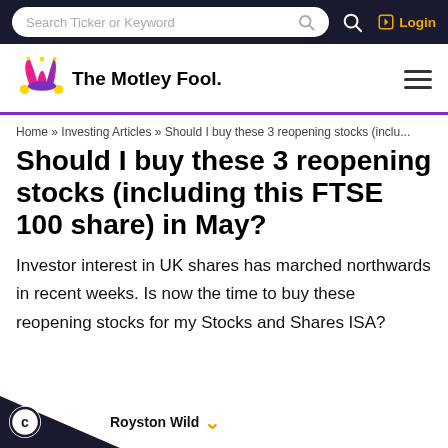Search Ticker or Keyword | Login
[Figure (logo): The Motley Fool logo with jester hat icon]
Home » Investing Articles » Should I buy these 3 reopening stocks (inclu...
Should I buy these 3 reopening stocks (including this FTSE 100 share) in May?
Investor interest in UK shares has marched northwards in recent weeks. Is now the time to buy these reopening stocks for my Stocks and Shares ISA?
Royston Wild